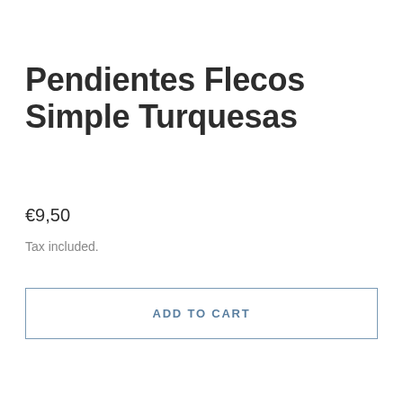Pendientes Flecos Simple Turquesas
€9,50
Tax included.
ADD TO CART